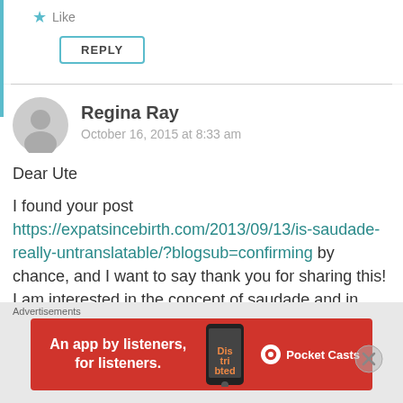★ Like
REPLY
Regina Ray
October 16, 2015 at 8:33 am
Dear Ute

I found your post https://expatsincebirth.com/2013/09/13/is-saudade-really-untranslatable/?blogsub=confirming by chance, and I want to say thank you for sharing this!
I am interested in the concept of saudade and in
Advertisements
[Figure (infographic): Red Pocket Casts advertisement banner: 'An app by listeners, for listeners.' with phone image and Pocket Casts logo]